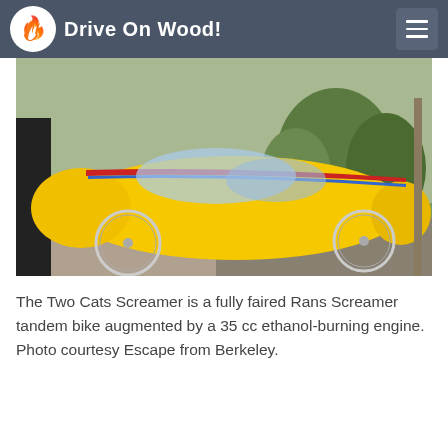Drive On Wood!
[Figure (photo): A fully faired yellow Rans Screamer tandem bike with red and blue stripes parked on grass beside a road. The aerodynamic fairing covers most of the bicycle frame, with two wheels visible at the bottom. A person in dark clothing is partially visible on the left.]
The Two Cats Screamer is a fully faired Rans Screamer tandem bike augmented by a 35 cc ethanol-burning engine. Photo courtesy Escape from Berkeley.